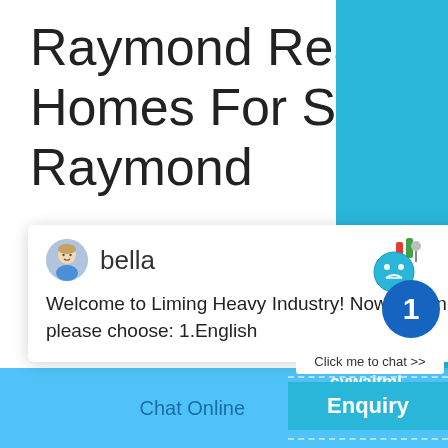Raymond Real Estate Homes For Sale in Raymond
...
bella
Welcome to Liming Heavy Industry! Now our on-line service is chatting with you! please choose: 1.English
photos. Connect to real estate Agents in R
Get Quote
1
Click me to chat >>
Enquiry
Chat Online
cywaitml @gmail.com